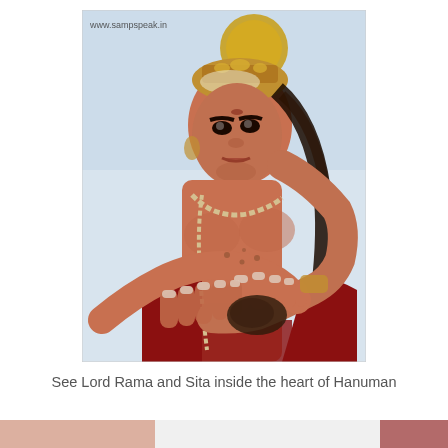[Figure (photo): A large Hanuman statue photographed from below, showing the face with decorated crown and golden halo, hands clasped together holding a garland at chest level, wearing red garment with bead necklace. Watermark 'www.sampspeak.in' visible in top-left corner.]
See Lord Rama and Sita inside the heart of Hanuman